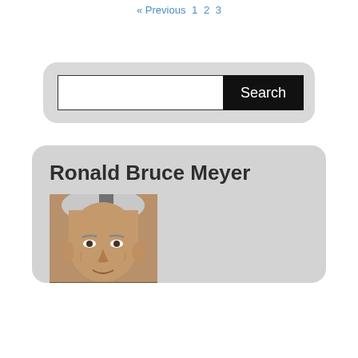« Previous 1 2 3
Search
Ronald Bruce Meyer
[Figure (photo): Portrait photo of Ronald Bruce Meyer, an older white-haired man]